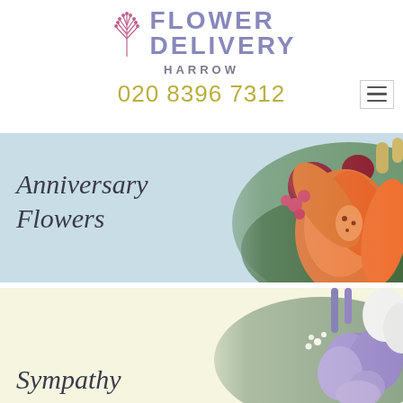[Figure (logo): Flower Delivery Harrow logo with stylized purple plant icon and text]
HARROW
020 8396 7312
[Figure (photo): Anniversary Flowers banner with light blue background and orange lily with red roses bouquet on right side]
Anniversary Flowers
[Figure (photo): Sympathy flowers banner with cream/yellow background and purple and white flowers on right side]
Sympathy